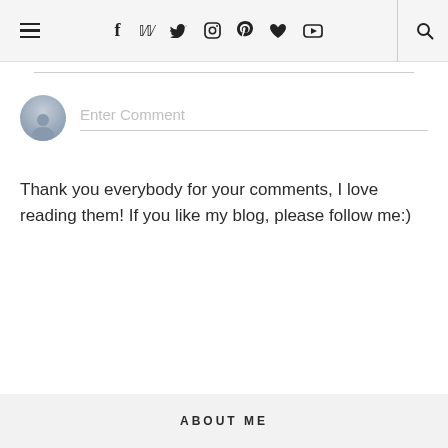Navigation bar with hamburger menu, social icons (f, twitter, instagram, pinterest, heart, youtube), and search icon
[Figure (illustration): Comment input field with default avatar circle and 'Enter Comment' placeholder text]
Thank you everybody for your comments, I love reading them! If you like my blog, please follow me:)
ABOUT ME